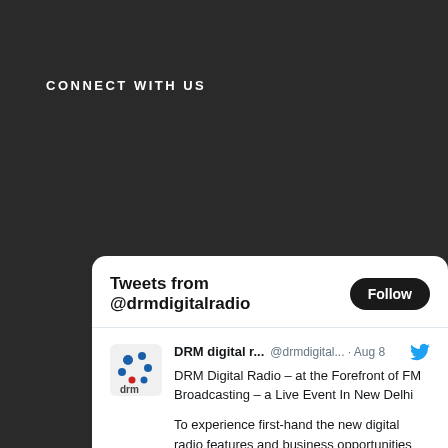CONNECT WITH US
Tweets from @drmdigitalradio
DRM digital r... @drmdigital... · Aug 8
DRM Digital Radio – at the Forefront of FM Broadcasting – a Live Event In New Delhi
To experience first-hand the new digital radio features and business opportunities the DRM digital standard enables, an event ... drm.org/drm-digital-ra...